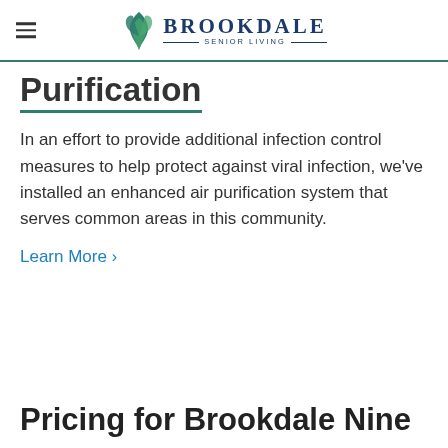Brookdale Senior Living
Purification
In an effort to provide additional infection control measures to help protect against viral infection, we've installed an enhanced air purification system that serves common areas in this community.
Learn More >
Pricing for Brookdale Nine